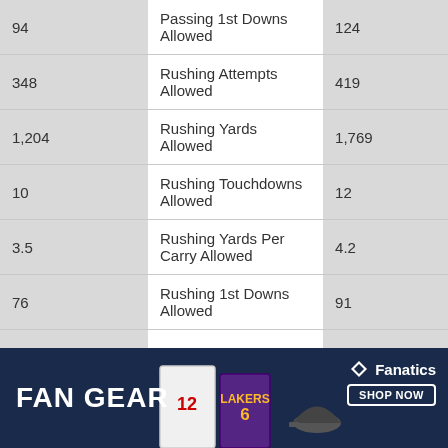| Team Stat | Stat Name | Opponent Stat |
| --- | --- | --- |
| 94 | Passing 1st Downs Allowed | 124 |
| 348 | Rushing Attempts Allowed | 419 |
| 1,204 | Rushing Yards Allowed | 1,769 |
| 10 | Rushing Touchdowns Allowed | 12 |
| 3.5 | Rushing Yards Per Carry Allowed | 4.2 |
| 76 | Rushing 1st Downs Allowed | 91 |
| 56 | Defensive Penalties | 61 |
|  | Points Allowed Per |  |
[Figure (infographic): Fanatics FAN GEAR advertisement banner with dark navy background, sports jerseys (white #12, purple Lakers #6), gray cap, and Fanatics logo with SHOP NOW button]